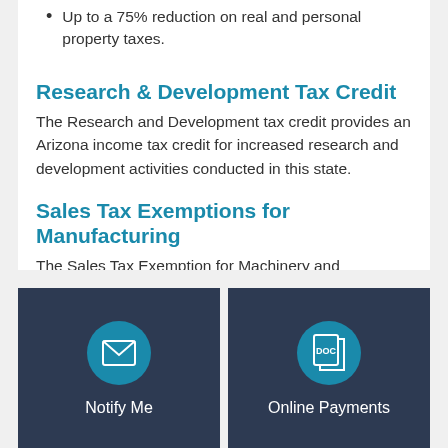Up to a 75% reduction on real and personal property taxes.
Research & Development Tax Credit
The Research and Development tax credit provides an Arizona income tax credit for increased research and development activities conducted in this state.
Sales Tax Exemptions for Manufacturing
The Sales Tax Exemption for Machinery and Equipment is a sales tax exemption for various machinery or equipment.
[Figure (infographic): Two dark navy blue cards side by side. Left card: teal circle icon with envelope symbol, label 'Notify Me'. Right card: teal circle icon with document/DOC symbol, label 'Online Payments'.]